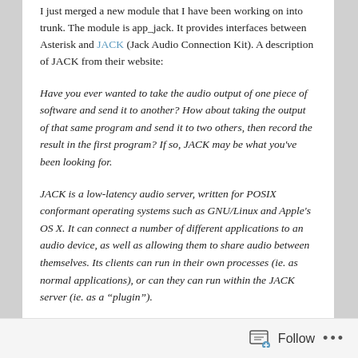I just merged a new module that I have been working on into trunk. The module is app_jack. It provides interfaces between Asterisk and JACK (Jack Audio Connection Kit). A description of JACK from their website:
Have you ever wanted to take the audio output of one piece of software and send it to another? How about taking the output of that same program and send it to two others, then record the result in the first program? If so, JACK may be what you've been looking for.
JACK is a low-latency audio server, written for POSIX conformant operating systems such as GNU/Linux and Apple's OS X. It can connect a number of different applications to an audio device, as well as allowing them to share audio between themselves. Its clients can run in their own processes (ie. as normal applications), or can they can run within the JACK server (ie. as a "plugin").
I recently learned about PureData, so very quickly I
Follow